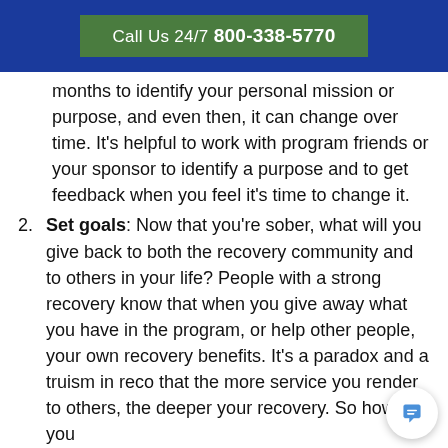Call Us 24/7 800-338-5770
months to identify your personal mission or purpose, and even then, it can change over time. It’s helpful to work with program friends or your sponsor to identify a purpose and to get feedback when you feel it’s time to change it.
Set goals: Now that you’re sober, what will you give back to both the recovery community and to others in your life? People with a strong recovery know that when you give away what you have in the program, or help other people, your own recovery benefits. It’s a paradox and a truism in recovery that the more service you render to others, the deeper your recovery. So how will you